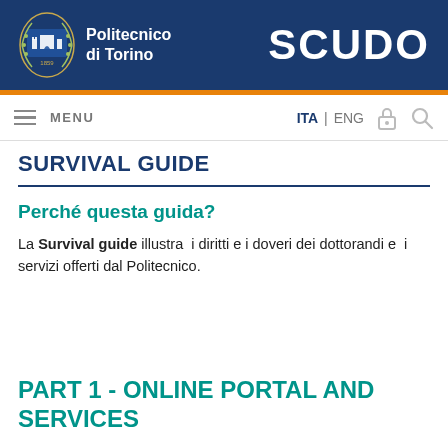Politecnico di Torino — SCUDO
SURVIVAL GUIDE
Perché questa guida?
La Survival guide illustra i diritti e i doveri dei dottorandi e i servizi offerti dal Politecnico.
PART 1 - ONLINE PORTAL AND SERVICES